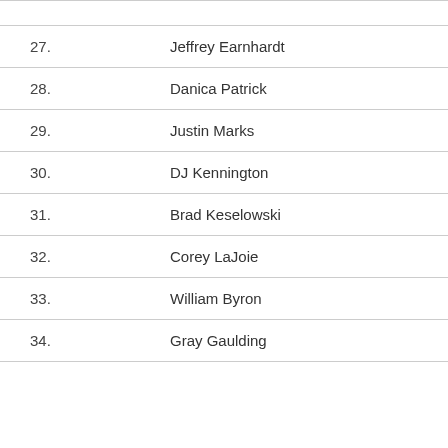27. Jeffrey Earnhardt
28. Danica Patrick
29. Justin Marks
30. DJ Kennington
31. Brad Keselowski
32. Corey LaJoie
33. William Byron
34. Gray Gaulding